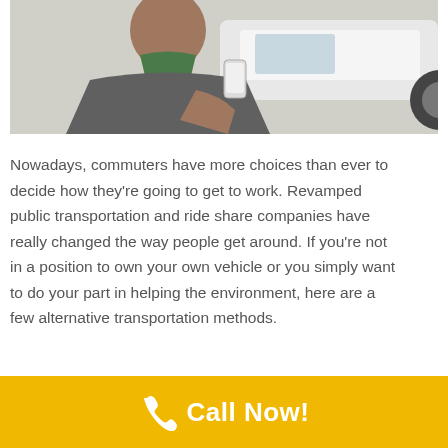[Figure (photo): Person viewed from behind holding a smartphone, with a white car visible in the background. The person appears to be wearing a green-collared jacket.]
Nowadays, commuters have more choices than ever to decide how they're going to get to work. Revamped public transportation and ride share companies have really changed the way people get around. If you're not in a position to own your own vehicle or you simply want to do your part in helping the environment, here are a few alternative transportation methods.
Call Now!